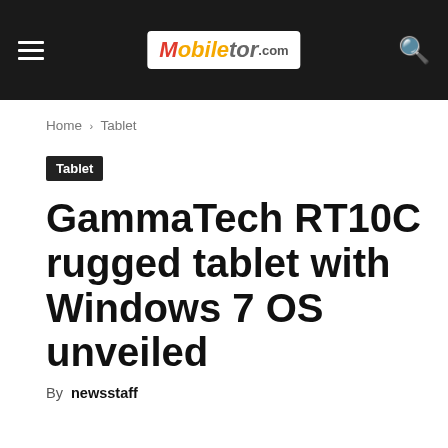Mobiletor.com
Home › Tablet
Tablet
GammaTech RT10C rugged tablet with Windows 7 OS unveiled
By newsstaff